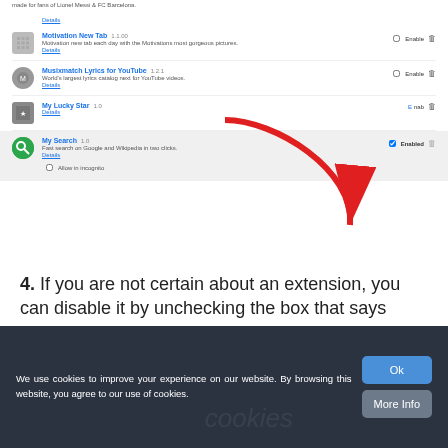[Figure (screenshot): Browser extensions management page showing list of extensions including Motivation New Tab 1.1.00, Musixmatch Lyrics for YouTube 1.2.1, My Lucky Star 1.0, and My Search 1.0 (highlighted with red arrow pointing to it, showing Enabled checkbox checked)]
4. If you are not certain about an extension, you can disable it by unchecking the box that says Enabled. If you later decide to keep it, simply check the box again.
We use cookies to improve your experience on our website. By browsing this website, you agree to our use of cookies.